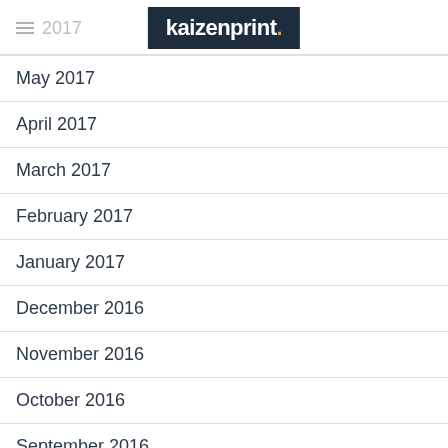kaizenprint.
May 2017
April 2017
March 2017
February 2017
January 2017
December 2016
November 2016
October 2016
September 2016
July 2016